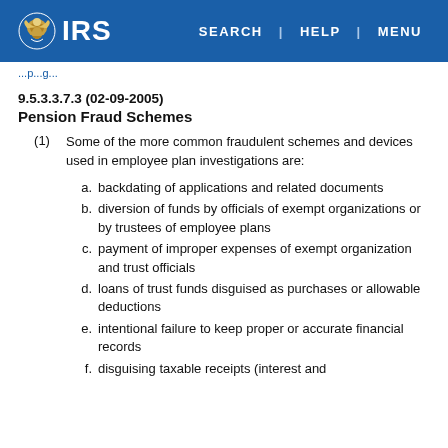IRS | SEARCH | HELP | MENU
...p...g...
9.5.3.3.7.3 (02-09-2005)
Pension Fraud Schemes
(1) Some of the more common fraudulent schemes and devices used in employee plan investigations are:
a. backdating of applications and related documents
b. diversion of funds by officials of exempt organizations or by trustees of employee plans
c. payment of improper expenses of exempt organization and trust officials
d. loans of trust funds disguised as purchases or allowable deductions
e. intentional failure to keep proper or accurate financial records
f. disguising taxable receipts (interest and...